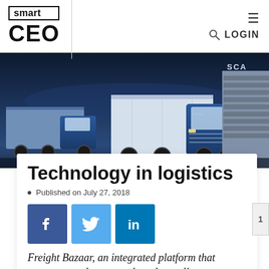smart CEO — LOGIN
[Figure (photo): Three large Scania trucks (including model R620) photographed against a dark blue night sky. The trucks are blue and white with visible SCANIA branding on the front grille.]
Technology in logistics
Published on July 27, 2018
[Figure (infographic): Social media sharing buttons: Facebook (blue with f icon), Twitter (light blue with bird icon), LinkedIn (blue with in icon)]
Freight Bazaar, an integrated platform that connects truck users and truck suppliers